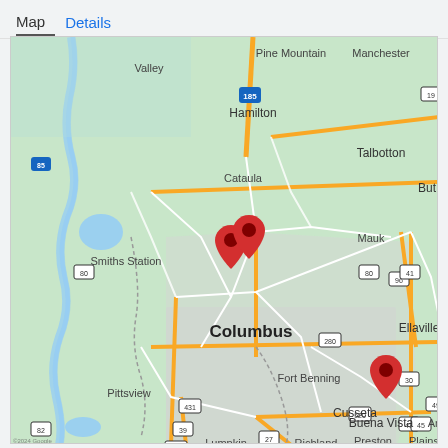Map   Details
[Figure (map): Google Maps screenshot showing the Columbus, Georgia area with surrounding cities including Smiths Station, Hamilton, Cataula, Talbotton, Fort Benning, Cusseta, Buena Vista, Ellaville, Pittsview, Lumpkin, Preston, Plains, Richland. Three red map pins are shown — two clustered near Columbus and one near Buena Vista.]